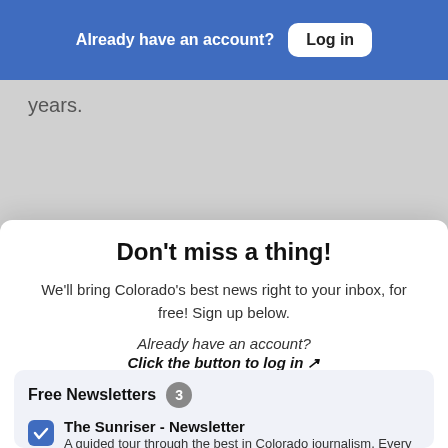Already have an account? Log in
years.
Close
a all stripper wells, each one yielding
Don't miss a thing!
We'll bring Colorado's best news right to your inbox, for free! Sign up below.
Already have an account? Click the button to log in ↗
Free Newsletters 3
The Sunriser - Newsletter
A guided tour through the best in Colorado journalism. Every